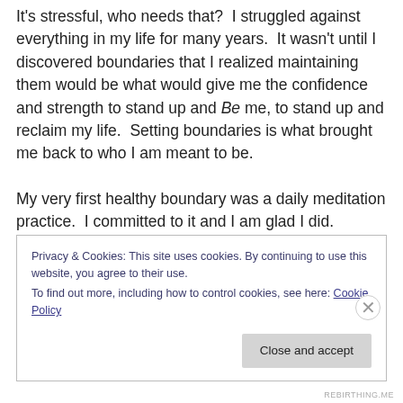It's stressful, who needs that?  I struggled against everything in my life for many years.  It wasn't until I discovered boundaries that I realized maintaining them would be what would give me the confidence and strength to stand up and Be me, to stand up and reclaim my life.  Setting boundaries is what brought me back to who I am meant to be.

My very first healthy boundary was a daily meditation practice.  I committed to it and I am glad I did.  Shortly following the start of my meditation practice a few more
Privacy & Cookies: This site uses cookies. By continuing to use this website, you agree to their use.
To find out more, including how to control cookies, see here: Cookie Policy
Close and accept
REBIRTHING.ME